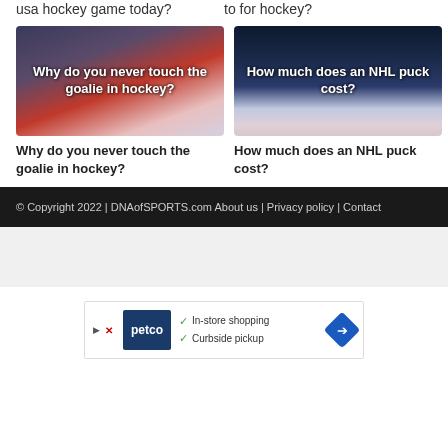usa hockey game today?
to for hockey?
[Figure (photo): Hockey skates and sticks on ice with puck, overlay text: Why do you never touch the goalie in hockey?]
[Figure (photo): NHL arena ice rink with goal, overlay text: How much does an NHL puck cost?]
Why do you never touch the goalie in hockey?
How much does an NHL puck cost?
© Copyright 2022 | DNAofSPORTS.com About us | Privacy policy | Contact
[Figure (other): Petco advertisement banner with In-store shopping and Curbside pickup checkmarks]